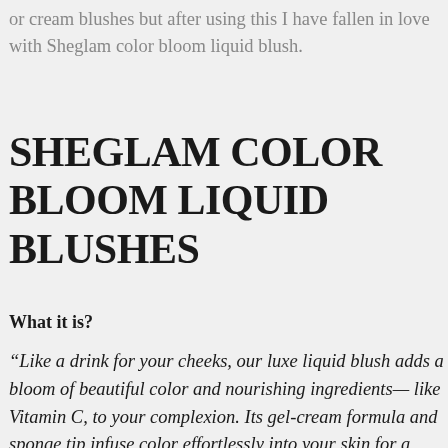or cream blushes but after using this I have fallen in love with Sheglam color bloom liquid blush.
SHEGLAM COLOR BLOOM LIQUID BLUSHES
What it is?
“Like a drink for your cheeks, our luxe liquid blush adds a bloom of beautiful color and nourishing ingredients— like Vitamin C, to your complexion. Its gel-cream formula and sponge tip infuse color effortlessly into your skin for a